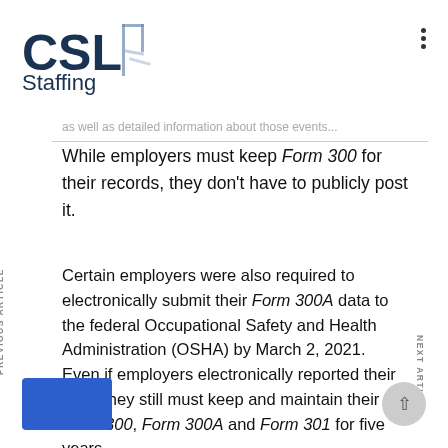[Figure (logo): CSL Staffing logo with stylized bracket shape in dark navy blue]
as well as detailed information about those events...
While employers must keep Form 300 for their records, they don't have to publicly post it.
Certain employers were also required to electronically submit their Form 300A data to the federal Occupational Safety and Health Administration (OSHA) by March 2, 2021. Even if employers electronically reported their data, they still must keep and maintain their Form 300, Form 300A and Form 301 for five years.